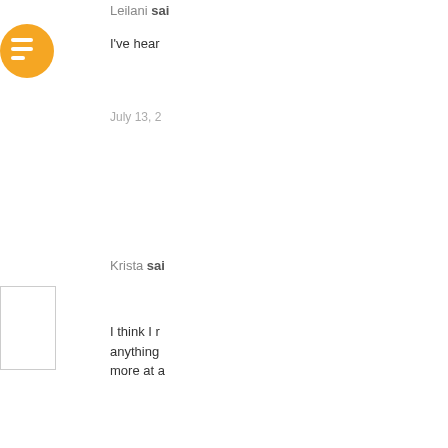Leilani said...
I've hear
July 13, 2
Krista said...
I think I n anything more at a
July 13, 2
Stephanie
Aw I'm p blogger-u thing lol.
SO glad y be all ove moment.
July 13, 2